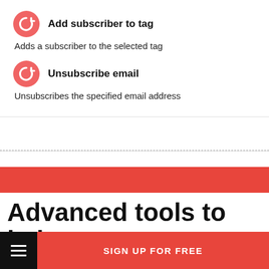Add subscriber to tag
Adds a subscriber to the selected tag
Unsubscribe email
Unsubscribes the specified email address
Advanced tools to help you
SIGN UP FOR FREE